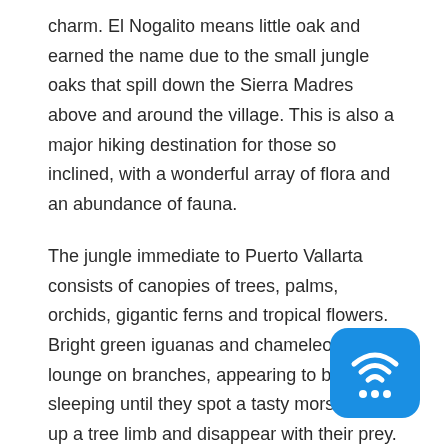charm. El Nogalito means little oak and earned the name due to the small jungle oaks that spill down the Sierra Madres above and around the village. This is also a major hiking destination for those so inclined, with a wonderful array of flora and an abundance of fauna.
The jungle immediate to Puerto Vallarta consists of canopies of trees, palms, orchids, gigantic ferns and tropical flowers. Bright green iguanas and chameleons lounge on branches, appearing to be sleeping until they spot a tasty morsel, race up a tree limb and disappear with their prey. Black and blue jays, flocks of green parakeets and the colorful Cacique with its bright yellow wings flutter around squawking as if something is
happening, though likely nothing is. Floating dragonflies and butterflies add to the heavenly ambience. Waterfalls with refreshing natural swimming pools can be discovered at levels or one can settle on relaxing at lower cascades.
[Figure (illustration): A blue rounded-rectangle icon depicting a WiFi/wireless signal symbol above three dots, resembling a wireless router or connectivity app icon.]